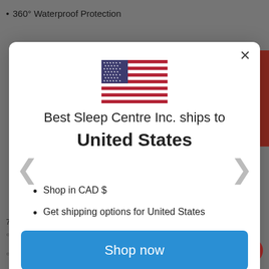360° Waterproof Protection
[Figure (screenshot): Modal dialog showing country/shipping selector for Best Sleep Centre Inc. with US flag, shipping info, and Shop now button]
Best Sleep Centre Inc. ships to United States
Shop in CAD $
Get shipping options for United States
Shop now
Change shipping country
75
Cal. King: 72" x 84
Full XL: 54" x